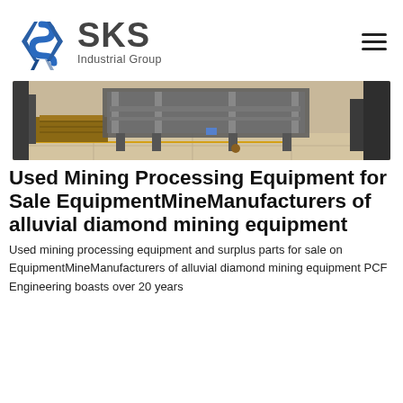[Figure (logo): SKS Industrial Group logo with angular S icon in blue and dark text]
[Figure (photo): Industrial warehouse or factory floor with heavy mining processing equipment on pallets]
Used Mining Processing Equipment for Sale EquipmentMineManufacturers of alluvial diamond mining equipment
Used mining processing equipment and surplus parts for sale on EquipmentMineManufacturers of alluvial diamond mining equipment PCF Engineering boasts over 20 years